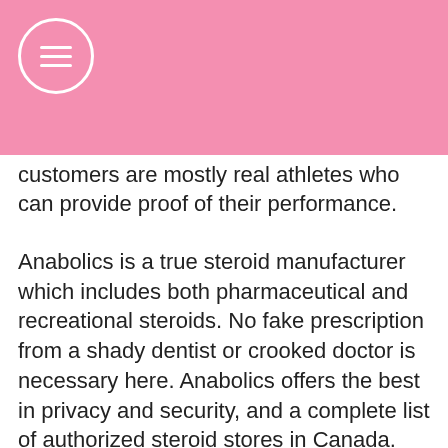[Figure (screenshot): Pink navigation header bar with hamburger menu circle icon on the left and a shopping cart icon with '0' badge on the right]
steroids in Canada with confidence. Our customers are mostly real athletes who can provide proof of their performance.
Anabolics is a true steroid manufacturer which includes both pharmaceutical and recreational steroids. No fake prescription from a shady dentist or crooked doctor is necessary here. Anabolics offers the best in privacy and security, and a complete list of authorized steroid stores in Canada. We allow you to purchase from real people and you never have to worry about fraud, fraudsters, or anything else happening to you by doing so with Anabolics.
Our steroid supply is all 100% legit, and you